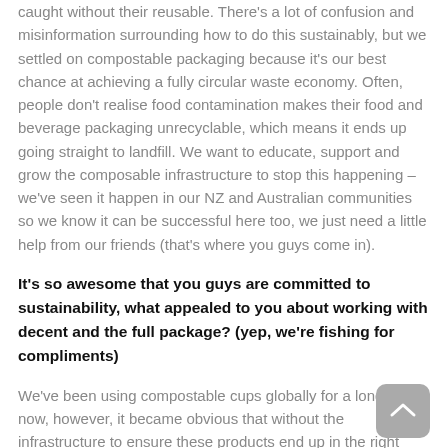caught without their reusable. There's a lot of confusion and misinformation surrounding how to do this sustainably, but we settled on compostable packaging because it's our best chance at achieving a fully circular waste economy. Often, people don't realise food contamination makes their food and beverage packaging unrecyclable, which means it ends up going straight to landfill. We want to educate, support and grow the composable infrastructure to stop this happening – we've seen it happen in our NZ and Australian communities so we know it can be successful here too, we just need a little help from our friends (that's where you guys come in).
It's so awesome that you guys are committed to sustainability, what appealed to you about working with decent and the full package? (yep, we're fishing for compliments)
We've been using compostable cups globally for a long time now, however, it became obvious that without the infrastructure to ensure these products end up in the right place these efforts to be more sustainable would have a